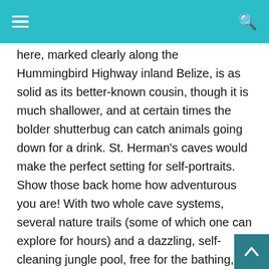navigation header with hamburger menu and search icon
here, marked clearly along the Hummingbird Highway inland Belize, is as solid as its better-known cousin, though it is much shallower, and at certain times the bolder shutterbug can catch animals going down for a drink. St. Herman's caves would make the perfect setting for self-portraits. Show those back home how adventurous you are! With two whole cave systems, several nature trails (some of which one can explore for hours) and a dazzling, self-cleaning jungle pool, free for the bathing, your camera isn't going to be the only one happy for the experience.
Infilling your day with as many photo-ops as possible, take a drive less than two hours along the Western Highway and cross the ferry to be transported through time. The Ancient City of Xunantunich is an archaeological site that...